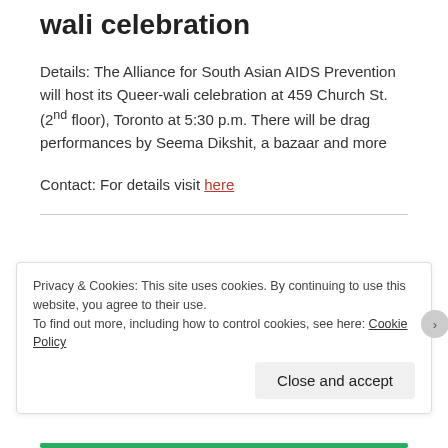wali celebration
Details: The Alliance for South Asian AIDS Prevention will host its Queer-wali celebration at 459 Church St. (2nd floor), Toronto at 5:30 p.m. There will be drag performances by Seema Dikshit, a bazaar and more
Contact: For details visit here
Privacy & Cookies: This site uses cookies. By continuing to use this website, you agree to their use.
To find out more, including how to control cookies, see here: Cookie Policy